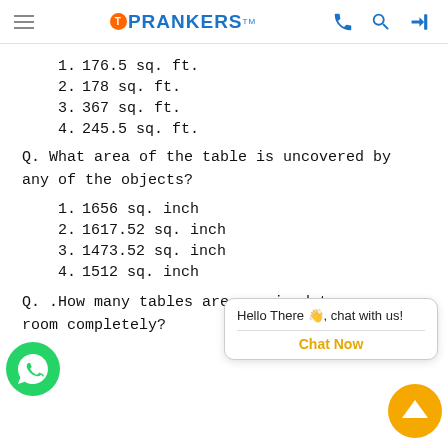TOPRANKERS
1. 176.5 sq. ft.
2. 178 sq. ft.
3. 367 sq. ft.
4. 245.5 sq. ft.
Q. What area of the table is uncovered by any of the objects?
1. 1656 sq. inch
2. 1617.52 sq. inch
3. 1473.52 sq. inch
4. 1512 sq. inch
Q. .How many tables are required to cover room completely?